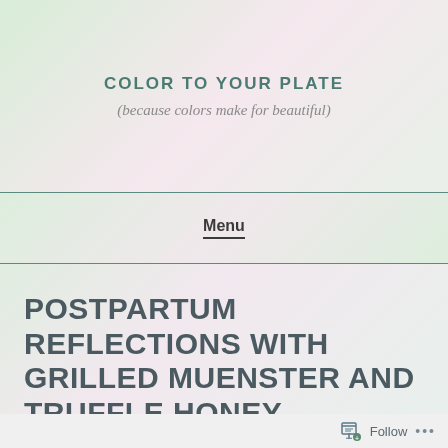COLOR TO YOUR PLATE
(because colors make for beautiful)
Menu
POSTPARTUM REFLECTIONS WITH GRILLED MUENSTER AND TRUFFLE HONEY
Follow ...